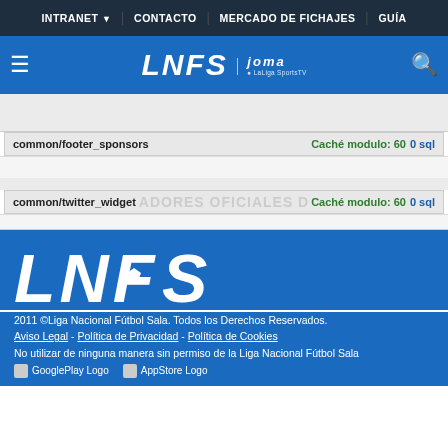INTRANET | CONTACTO | MERCADO DE FICHAJES | GUÍA
[Figure (logo): LNFS logo with Joma and LaLiga SportsTV branding on blue navigation bar]
common/footer_sponsors   Caché modulo: 60  0 sql
common/twitter_widget   ADORES OFICIALES D   Caché modulo: 60  0 sql
[Figure (logo): LNFS large white logo on blue footer background]
2011 ©Liga Nacional Fútbol Sala. Todos los Derechos Reservados. Aviso Legal - Política de Privacidad - Política de Cookies No utilizar de ninguna manera sin permiso de la Liga Nacional Fútbol Sala [GooglePlay Logo] [AppStore Logo]